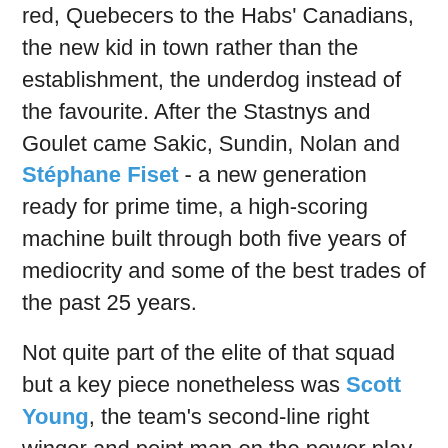red, Quebecers to the Habs' Canadians, the new kid in town rather than the establishment, the underdog instead of the favourite. After the Stastnys and Goulet came Sakic, Sundin, Nolan and Stéphane Fiset - a new generation ready for prime time, a high-scoring machine built through both five years of mediocrity and some of the best trades of the past 25 years.
Not quite part of the elite of that squad but a key piece nonetheless was Scott Young, the team's second-line right winger and point man on the power play. His shot was as accurate as it was hard, and his passing skills could also be used at that position, while also giving prime powerplay time to the other offensive weapons on the team (Joe Sakic, Owen Nolan, Mike Ricci, Mats Sundin, Wendel Clark) while giving either Leschyshyn or Duchesne a well-deserved break if they'd been on the ice as the other team's penalty was called.
He was the most important 'not-quite-star' player on that team, which is what I told him when I met him (he wasn't too impressed despite acknowledging that I meant well). In 5